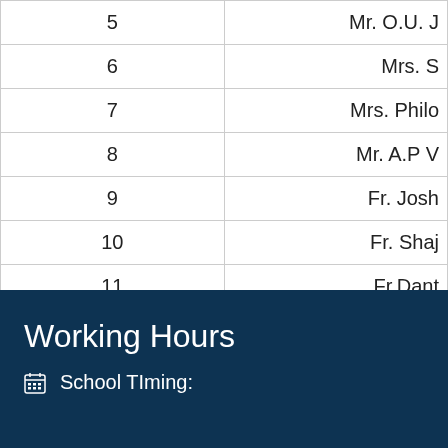| # | Name |
| --- | --- |
| 5 | Mr. O.U. J... |
| 6 | Mrs. S... |
| 7 | Mrs. Philo... |
| 8 | Mr. A.P V... |
| 9 | Fr. Josh... |
| 10 | Fr. Shaj... |
| 11 | Fr.Dant... |
| 12 | Dr. Julie... |
| 13 | Fr. Mejo J... |
| 14 | Mr.Jo... |
| 15 | Mrs. No... |
Working Hours
School TIming: